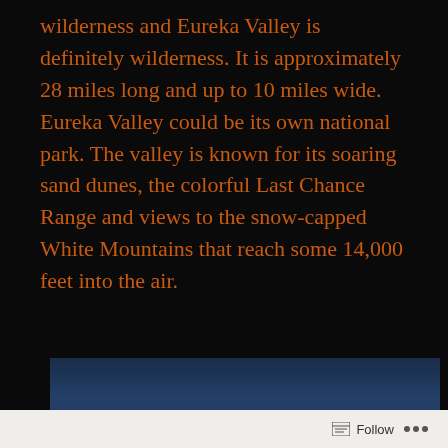wilderness and Eureka Valley is definitely wilderness. It is approximately 28 miles long and up to 10 miles wide. Eureka Valley could be its own national park. The valley is known for its soaring sand dunes, the colorful Last Chance Range and views to the snow-capped White Mountains that reach some 14,000 feet into the air.
[Figure (photo): A dramatic sky photograph showing deep blue sky with wispy white clouds, partially cropped at bottom of page]
Follow